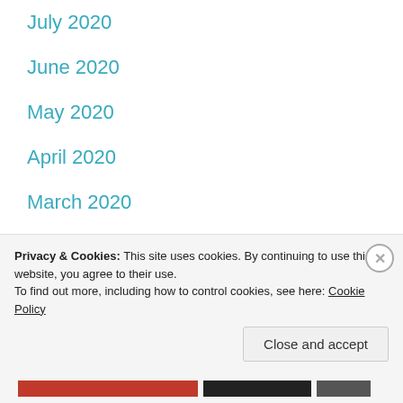July 2020
June 2020
May 2020
April 2020
March 2020
January 2020
December 2019
October 2019
August 2019
July 2019
Privacy & Cookies: This site uses cookies. By continuing to use this website, you agree to their use.
To find out more, including how to control cookies, see here: Cookie Policy
Close and accept